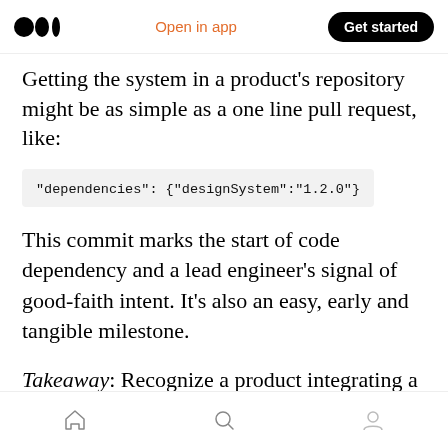Open in app | Get started
Getting the system in a product's repository might be as simple as a one line pull request, like:
This commit marks the start of code dependency and a lead engineer's signal of good-faith intent. It's also an easy, early and tangible milestone.
Takeaway: Recognize a product integrating a dependency (such as via npm) as a milestone that forges a code relationship between system and product.
Home | Search | Profile